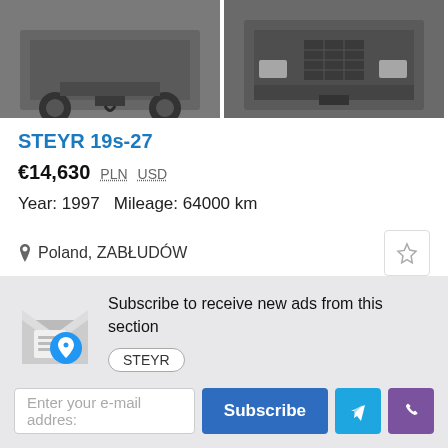[Figure (photo): Two photos of a STEYR truck, showing rear views from different angles]
STEYR 19s-27
€14,630  PLN  USD
Year: 1997  Mileage: 64000 km
Poland, ZABŁUDÓW
Subscribe to receive new ads from this section
STEYR
Enter your e-mail address
Subscribe